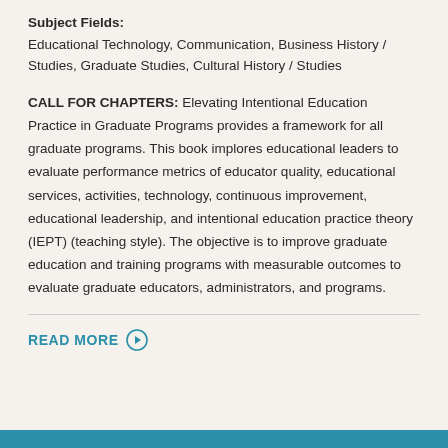Subject Fields: Educational Technology, Communication, Business History / Studies, Graduate Studies, Cultural History / Studies
CALL FOR CHAPTERS: Elevating Intentional Education Practice in Graduate Programs provides a framework for all graduate programs. This book implores educational leaders to evaluate performance metrics of educator quality, educational services, activities, technology, continuous improvement, educational leadership, and intentional education practice theory (IEPT) (teaching style). The objective is to improve graduate education and training programs with measurable outcomes to evaluate graduate educators, administrators, and programs.
READ MORE